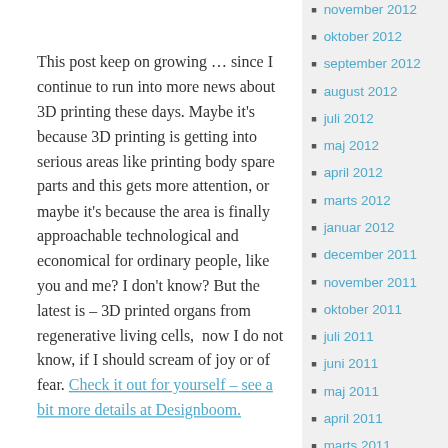This post keep on growing … since I continue to run into more news about 3D printing these days. Maybe it's because 3D printing is getting into serious areas like printing body spare parts and this gets more attention, or maybe it's because the area is finally approachable technological and economical for ordinary people, like you and me? I don't know? But the latest is – 3D printed organs from regenerative living cells,  now I do not know, if I should scream of joy or of fear. Check it out for yourself – see a bit more details at Designboom.
november 2012
oktober 2012
september 2012
august 2012
juli 2012
maj 2012
april 2012
marts 2012
januar 2012
december 2011
november 2011
oktober 2011
juli 2011
juni 2011
maj 2011
april 2011
marts 2011
februar 2011
januar 2011